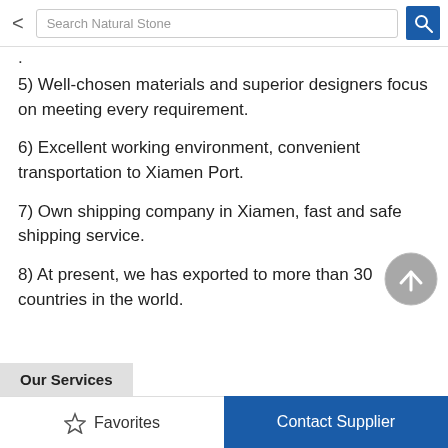Search Natural Stone
5) Well-chosen materials and superior designers focus on meeting every requirement.
6) Excellent working environment, convenient transportation to Xiamen Port.
7) Own shipping company in Xiamen, fast and safe shipping service.
8) At present, we has exported to more than 30 countries in the world.
Our Services
Favorites   Contact Supplier